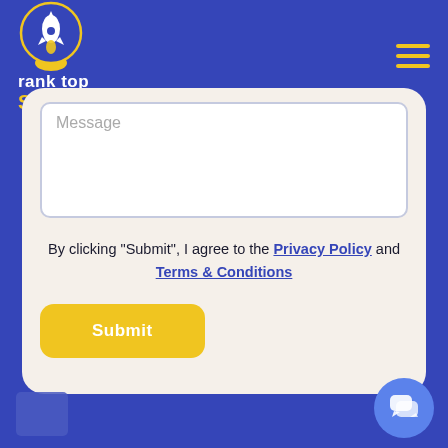[Figure (logo): Rank Top SEO logo: white rocket in a yellow-bordered circle above the text 'rank top SEO' in white and yellow]
[Figure (illustration): Hamburger menu icon with three yellow horizontal lines]
[Figure (screenshot): White/cream contact form card showing a Message textarea, agreement text with Privacy Policy and Terms & Conditions links, and a yellow Submit button]
By clicking “Submit”, I agree to the Privacy Policy and Terms & Conditions
[Figure (illustration): Blue circular chat bubble icon in bottom right corner]
[Figure (illustration): Small dark blue thumbnail image in bottom left corner]